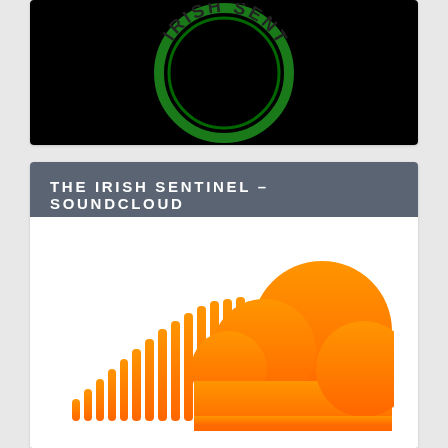[Figure (logo): The Irish Sentinel circular logo on black background, green ring with white text reading IRISH SENTINEL]
THE IRISH SENTINEL – SOUNDCLOUD
[Figure (logo): SoundCloud orange logo icon — waveform bars rising to a cloud shape, orange gradient]